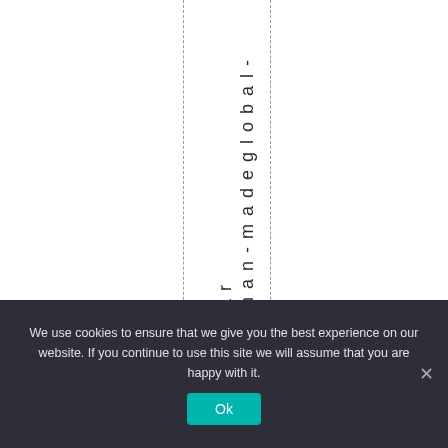pman-madeglobal-war
We use cookies to ensure that we give you the best experience on our website. If you continue to use this site we will assume that you are happy with it. Ok